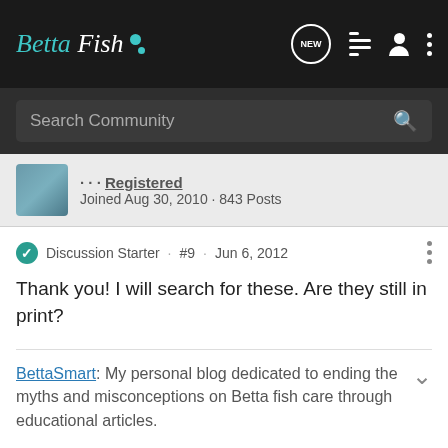Betta Fish · NEW · [menu] · [user] · [more]
Search Community
Joined Aug 30, 2010 · 843 Posts
Discussion Starter · #9 · Jun 6, 2012
Thank you! I will search for these. Are they still in print?
BettaSmart: My personal blog dedicated to ending the myths and misconceptions on Betta fish care through educational articles.
registereduser · Registered